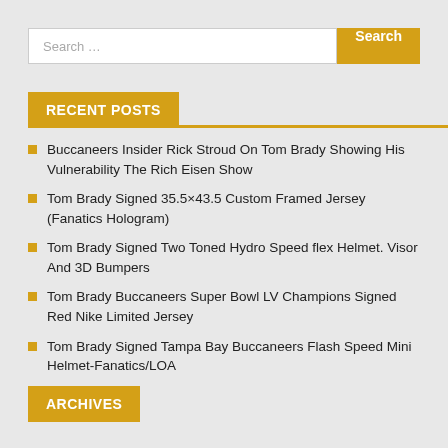Search …
RECENT POSTS
Buccaneers Insider Rick Stroud On Tom Brady Showing His Vulnerability The Rich Eisen Show
Tom Brady Signed 35.5×43.5 Custom Framed Jersey (Fanatics Hologram)
Tom Brady Signed Two Toned Hydro Speed flex Helmet. Visor And 3D Bumpers
Tom Brady Buccaneers Super Bowl LV Champions Signed Red Nike Limited Jersey
Tom Brady Signed Tampa Bay Buccaneers Flash Speed Mini Helmet-Fanatics/LOA
ARCHIVES